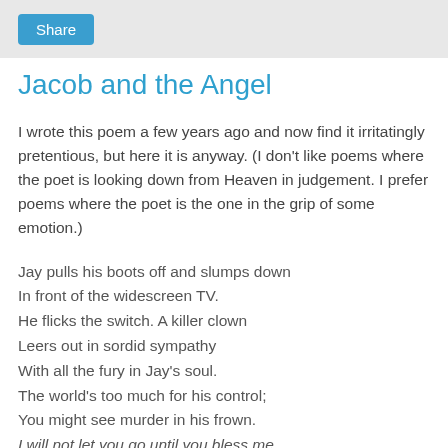Share
Jacob and the Angel
I wrote this poem a few years ago and now find it irritatingly pretentious, but here it is anyway. (I don't like poems where the poet is looking down from Heaven in judgement. I prefer poems where the poet is the one in the grip of some emotion.)
Jay pulls his boots off and slumps down
In front of the widescreen TV.
He flicks the switch. A killer clown
Leers out in sordid sympathy
With all the fury in Jay's soul.
The world's too much for his control;
You might see murder in his frown.
I will not let you go until you bless me.
Night closes on him like a noose;
The grinning faces on the screen